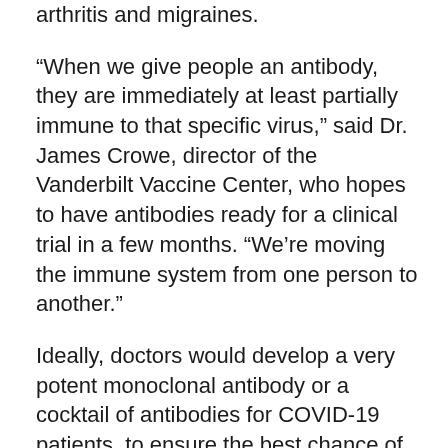arthritis and migraines.
“When we give people an antibody, they are immediately at least partially immune to that specific virus,” said Dr. James Crowe, director of the Vanderbilt Vaccine Center, who hopes to have antibodies ready for a clinical trial in a few months. “We’re moving the immune system from one person to another.”
Ideally, doctors would develop a very potent monoclonal antibody or a cocktail of antibodies for COVID-19 patients, to ensure the best chance of success, Crowe said. But manufacturing these drugs can be complicated, expensive, and time-consuming.